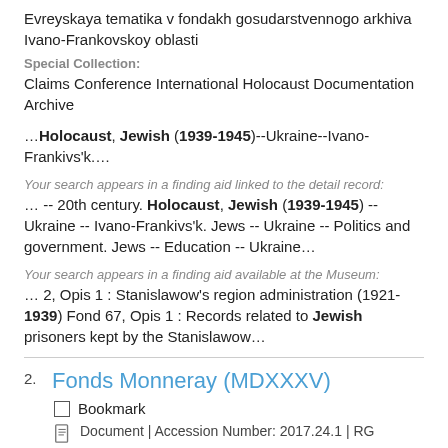Evreyskaya tematika v fondakh gosudarstvennogo arkhiva Ivano-Frankovskoy oblasti
Special Collection:
Claims Conference International Holocaust Documentation Archive
…Holocaust, Jewish (1939-1945)--Ukraine--Ivano-Frankivs'k.…
Your search appears in a finding aid linked to the detail record:
… -- 20th century. Holocaust, Jewish (1939-1945) -- Ukraine -- Ivano-Frankivs'k. Jews -- Ukraine -- Politics and government. Jews -- Education -- Ukraine…
Your search appears in a finding aid available at the Museum:
… 2, Opis 1 : Stanislawow's region administration (1921-1939) Fond 67, Opis 1 : Records related to Jewish prisoners kept by the Stanislawow…
2.
Fonds Monneray (MDXXXV)
Bookmark
Document | Accession Number: 2017.24.1 | RG